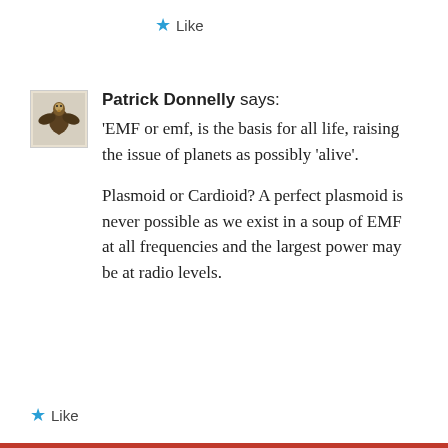Like
Patrick Donnelly says: 'EMF or emf, is the basis for all life, raising the issue of planets as possibly 'alive'. Plasmoid or Cardioid? A perfect plasmoid is never possible as we exist in a soup of EMF at all frequencies and the largest power may be at radio levels.
Like